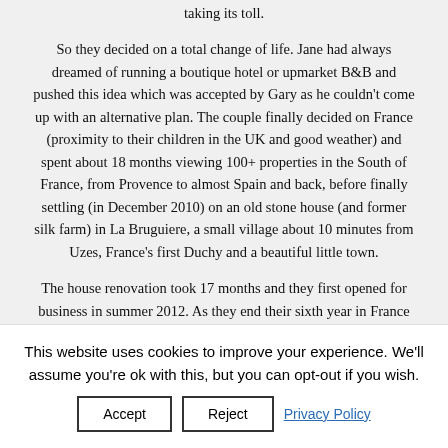taking its toll.
So they decided on a total change of life. Jane had always dreamed of running a boutique hotel or upmarket B&B and pushed this idea which was accepted by Gary as he couldn't come up with an alternative plan. The couple finally decided on France (proximity to their children in the UK and good weather) and spent about 18 months viewing 100+ properties in the South of France, from Provence to almost Spain and back, before finally settling (in December 2010) on an old stone house (and former silk farm) in La Bruguiere, a small village about 10 minutes from Uzes, France's first Duchy and a beautiful little town.
The house renovation took 17 months and they first opened for business in summer 2012. As they end their sixth year in France the couple have no regrets and remain
This website uses cookies to improve your experience. We'll assume you're ok with this, but you can opt-out if you wish.
Accept
Reject
Privacy Policy